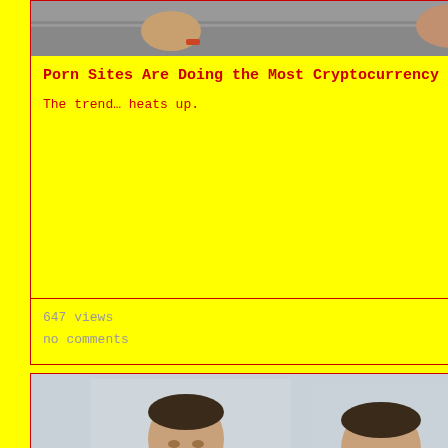[Figure (photo): Partial photo of a person visible at the top of the page, cropped]
Porn Sites Are Doing the Most Cryptocurrency Mining
The trend… heats up.
647 views
no comments
[Figure (photo): Two men in black tuxedos with bow ties smiling, likely the Winklevoss twins, with a crowd in the background]
Bitcoin better than gold & will be worth $340,000 – cryptocurrency